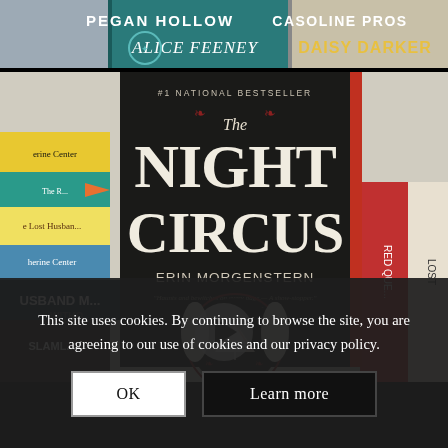[Figure (photo): Top strip showing colorful book spines including 'Pegan Hollow', 'Casoline Pros', 'Alice Feeney', 'Daisy Darker' with teal and white book covers arranged in a row]
[Figure (photo): Photograph of 'The Night Circus' by Erin Morgenstern book cover (#1 National Bestseller) displayed in front of a stack of colorful books including 'The Lost Husband', 'Katherine Center', 'Red Queen', 'Lost', 'Husband Material'. The book cover is dark with white silhouettes of two figures flanking a circus tent. A video play button overlay is visible in the center.]
This site uses cookies. By continuing to browse the site, you are agreeing to our use of cookies and our privacy policy.